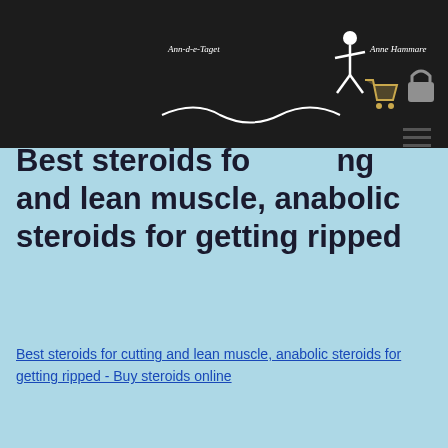Ann-d-e-Taget  Anne Hammare
Best steroids for cutting and lean muscle, anabolic steroids for getting ripped
Best steroids for cutting and lean muscle, anabolic steroids for getting ripped - Buy steroids online
[Figure (photo): Blurred dark photograph, likely showing a person or fitness-related image]